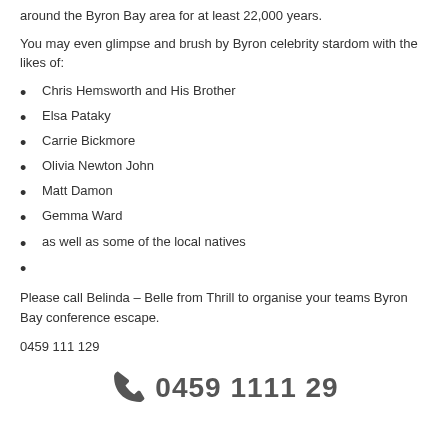around the Byron Bay area for at least 22,000 years.
You may even glimpse and brush by Byron celebrity stardom with the likes of:
Chris Hemsworth and His Brother
Elsa Pataky
Carrie Bickmore
Olivia Newton John
Matt Damon
Gemma Ward
as well as some of the local natives
Please call Belinda – Belle from Thrill to organise your teams Byron Bay conference escape.
0459 111 129
[Figure (other): Phone handset icon with large phone number 0459 1111 29]